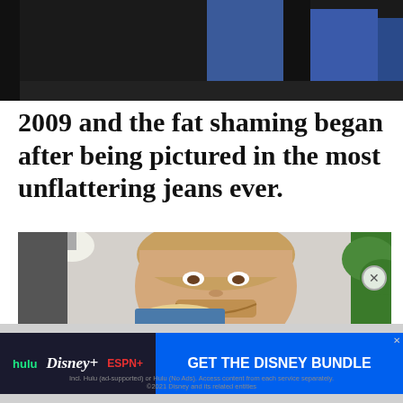[Figure (photo): Top portion of a photo showing legs in blue jeans against a dark background]
2009 and the fat shaming began after being pictured in the most unflattering jeans ever.
[Figure (photo): A smiling man with light brown hair and beard, with a blonde person in a blue patterned top in front of him, greenery visible on the right]
[Figure (other): Advertisement banner: hulu Disney+ ESPN+ GET THE DISNEY BUNDLE. Incl. Hulu (ad-supported) or Hulu (No Ads). Access content from each service separately. ©2021 Disney and its related entities]